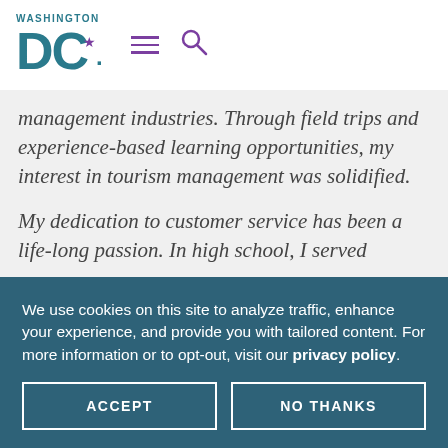WASHINGTON DC (logo with hamburger menu and search icon)
management industries. Through field trips and experience-based learning opportunities, my interest in tourism management was solidified.
My dedication to customer service has been a life-long passion. In high school, I served
We use cookies on this site to analyze traffic, enhance your experience, and provide you with tailored content. For more information or to opt-out, visit our privacy policy.
ACCEPT
NO THANKS